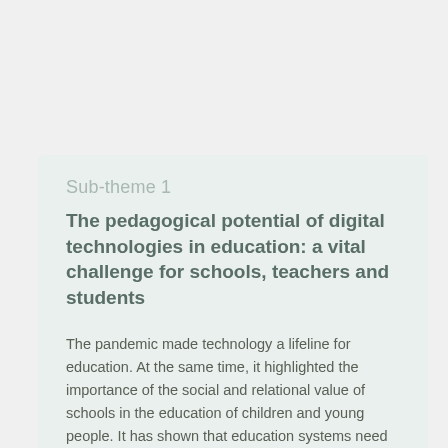Sub-theme 1
The pedagogical potential of digital technologies in education: a vital challenge for schools, teachers and students
The pandemic made technology a lifeline for education. At the same time, it highlighted the importance of the social and relational value of schools in the education of children and young people. It has shown that education systems need to have a strong and inclusive digital learning infrastructure and not compromise their…